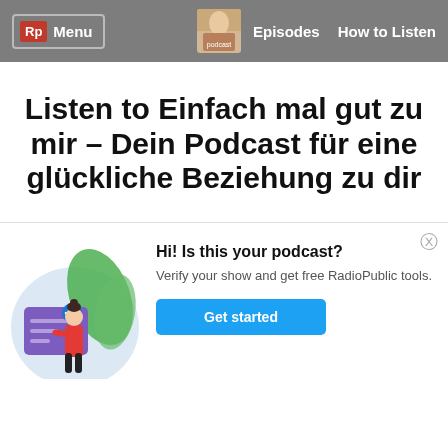Rp Menu | Episodes | How to Listen
Listen to Einfach mal gut zu mir – Dein Podcast für eine glückliche Beziehung zu dir
[Figure (illustration): Illustration of a woman in red top and black pants standing next to a large verified document/card with a checkmark, and green leaves in the background, all within a light blue circle.]
Hi! Is this your podcast?
Verify your show and get free RadioPublic tools.
Get started